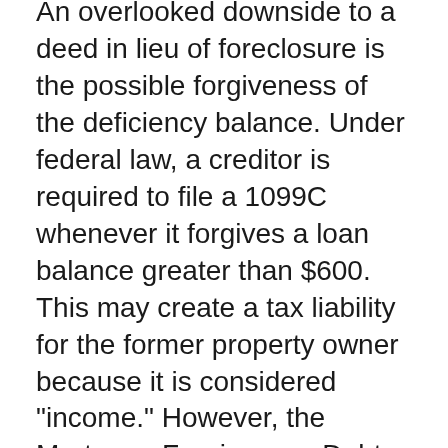An overlooked downside to a deed in lieu of foreclosure is the possible forgiveness of the deficiency balance. Under federal law, a creditor is required to file a 1099C whenever it forgives a loan balance greater than $600. This may create a tax liability for the former property owner because it is considered "income." However, the Mortgage Forgiveness Debt Relief Act of 2007 provides tax relief for some loans forgiven in 2007 through 2012. See the IRS document "The Mortgage Forgiveness Debt Relief Act and Debt Cancellation."
The key issue in a deed in lieu of foreclosure is whether the lender is willing to forgive the deficiency balance. Read the contract carefully